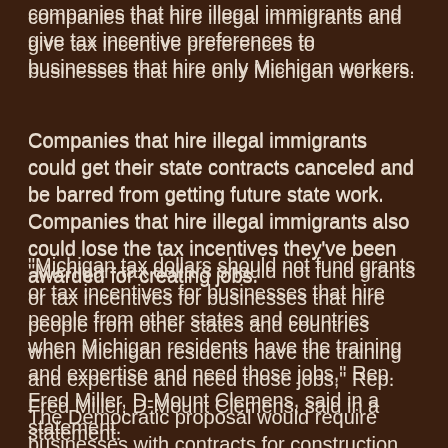companies that hire illegal immigrants and give tax incentive preferences to businesses that hire only Michigan workers.
Companies that hire illegal immigrants could get their state contracts canceled and be barred from getting future state work. Companies that hire illegal immigrants also could lose the tax incentives they've been awarded for creating jobs.
"Michigan tax dollars should not fund grants or tax incentives for businesses that hire people from other states and countries when Michigan residents have the training and expertise and need those jobs," Rep. Fred Miller, D-Mount Clemens, said in a statement.
The Democratic proposal would require businesses with contracts for construction of state buildings to hire 100 percent of their workers from Michigan. The current requirement is 50 percent. House Democrats said...